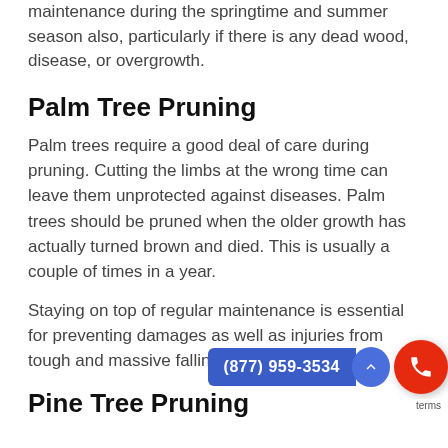maintenance during the springtime and summer season also, particularly if there is any dead wood, disease, or overgrowth.
Palm Tree Pruning
Palm trees require a good deal of care during pruning. Cutting the limbs at the wrong time can leave them unprotected against diseases. Palm trees should be pruned when the older growth has actually turned brown and died. This is usually a couple of times in a year.
Staying on top of regular maintenance is essential for preventing damages as well as injuries from tough and massive falling palm branches.
Pine Tree Pruning